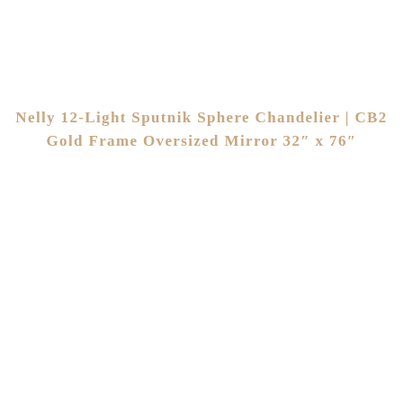Nelly 12-Light Sputnik Sphere Chandelier | CB2
Gold Frame Oversized Mirror 32" x 76"